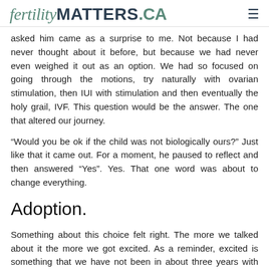fertilityMATTERS.CA
asked him came as a surprise to me. Not because I had never thought about it before, but because we had never even weighed it out as an option. We had so focused on going through the motions, try naturally with ovarian stimulation, then IUI with stimulation and then eventually the holy grail, IVF. This question would be the answer. The one that altered our journey.
“Would you be ok if the child was not biologically ours?” Just like that it came out. For a moment, he paused to reflect and then answered “Yes”. Yes. That one word was about to change everything.
Adoption.
Something about this choice felt right. The more we talked about it the more we got excited. As a reminder, excited is something that we have not been in about three years with regards to this journey. I think we both started to feel alive again, hopeful even. We could not believe that we did not think of this sooner. That being said I don’t think we were ready to put it on the table any sooner. Alas